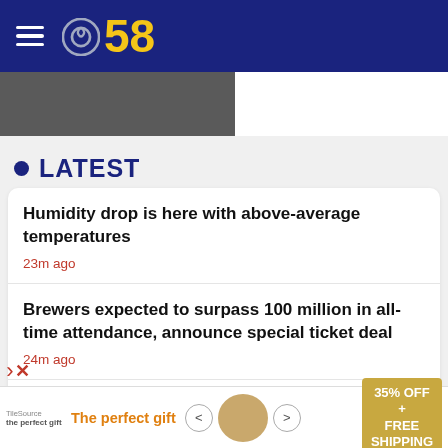CBS 58
[Figure (photo): Partial photo showing a person, cropped at top of content area]
• LATEST
Humidity drop is here with above-average temperatures
23m ago
Brewers expected to surpass 100 million in all-time attendance, announce special ticket deal
24m ago
Brookfield's Life Time wants to make sure your
[Figure (advertisement): Ad banner: 'The perfect gift' with food product image, navigation arrows, and '35% OFF + FREE SHIPPING' offer]